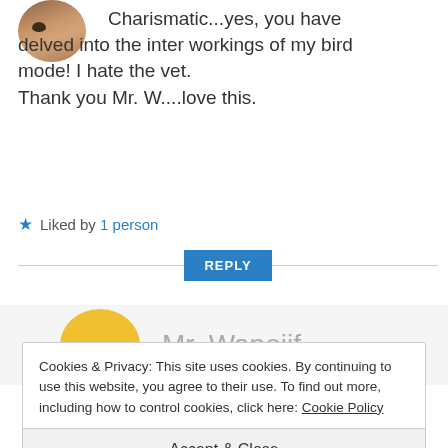[Figure (photo): Cropped circular avatar photo showing a person's face, partially visible]
Charismatic...yes, you have delved into the inter workings of my bird mode! I hate the vet.
Thank you Mr. W....love this.
★ Liked by 1 person
REPLY
[Figure (illustration): Yellow circular avatar icon with two dot eyes representing Mr. Wapojif]
Mr. Wapojif
Cookies & Privacy: This site uses cookies. By continuing to use this website, you agree to their use. To find out more, including how to control cookies, click here: Cookie Policy
Accept & Close